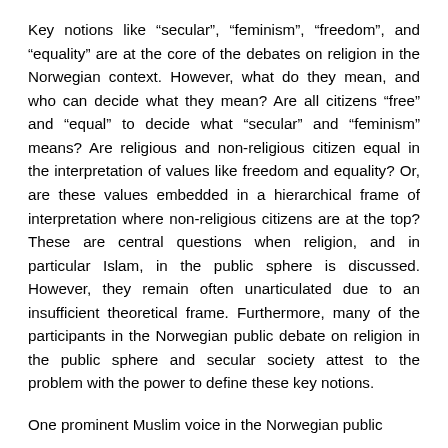Key notions like “secular”, “feminism”, “freedom”, and “equality” are at the core of the debates on religion in the Norwegian context. However, what do they mean, and who can decide what they mean? Are all citizens “free” and “equal” to decide what “secular” and “feminism” means? Are religious and non-religious citizen equal in the interpretation of values like freedom and equality? Or, are these values embedded in a hierarchical frame of interpretation where non-religious citizens are at the top? These are central questions when religion, and in particular Islam, in the public sphere is discussed. However, they remain often unarticulated due to an insufficient theoretical frame. Furthermore, many of the participants in the Norwegian public debate on religion in the public sphere and secular society attest to the problem with the power to define these key notions.
One prominent Muslim voice in the Norwegian public